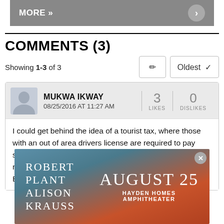[Figure (screenshot): MORE » navigation bar with gray background and right arrow circle button]
COMMENTS (3)
Showing 1-3 of 3
MUKWA IKWAY
08/25/2016 AT 11:27 AM
3 LIKES  0 DISLIKES
I could get behind the idea of a tourist tax, where those with an out of area drivers license are required to pay sales/tourist tax. For instance, at the gas tank when they run their debit card if the ZIP Code comes up outside of Bend then they pay
[Figure (photo): Advertisement banner: Robert Plant Alison Krauss August 25 Hayden Homes Amphitheater]